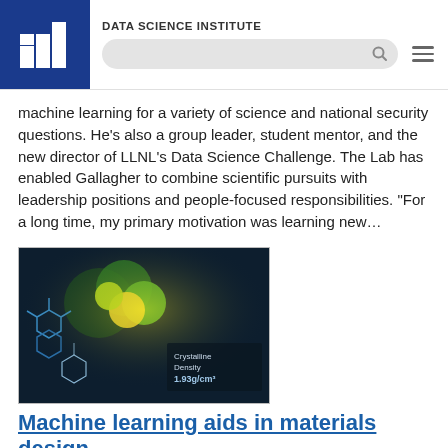DATA SCIENCE INSTITUTE
machine learning for a variety of science and national security questions. He’s also a group leader, student mentor, and the new director of LLNL’s Data Science Challenge. The Lab has enabled Gallagher to combine scientific pursuits with leadership positions and people-focused responsibilities. “For a long time, my primary motivation was learning new…
[Figure (photo): Scientific visualization showing molecular/chemical structures with glowing yellow-green hexagonal molecules against a dark blue background, with text overlay reading 'Crystalline Density 1.93g/cm³']
Machine learning aids in materials design
June 10, 2021 - A long-held goal by chemists across many industries is to imagine the chemical structure of a new molecule and be able to predict how it will function for a